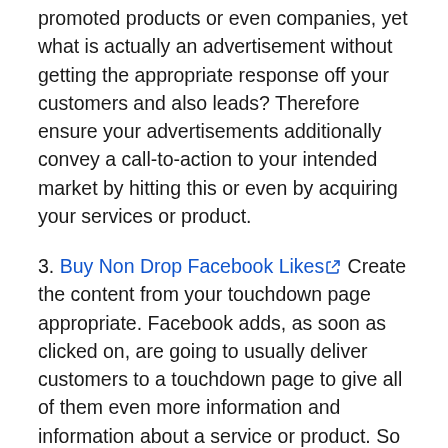promoted products or even companies, yet what is actually an advertisement without getting the appropriate response off your customers and also leads? Therefore ensure your advertisements additionally convey a call-to-action to your intended market by hitting this or even by acquiring your services or product.
3. Buy Non Drop Facebook Likes Create the content from your touchdown page appropriate. Facebook adds, as soon as clicked on, are going to usually deliver customers to a touchdown page to give all of them even more information and information about a service or product. So the content, features and style from your ad landing page will likewise determine the end result from your marketing campaign. Make certain that your touchdown page will possess the exact same info conveyed via your marketing campaign. Additionally, concept your landing page in an enticing and uncomplicated method to ensure that consumers can easily possess very easy access to their desired relevant information. If your touchdown page cannot store the focus of your visitors as